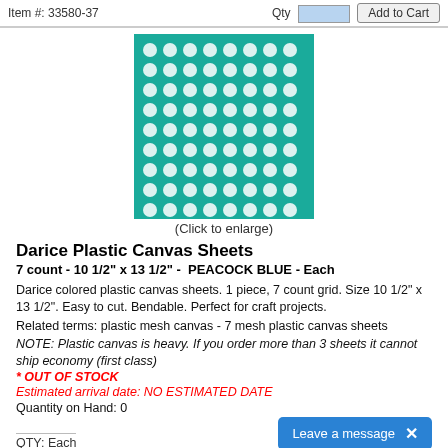Item #: 33580-37   Qty  [input]  Add to Cart
[Figure (photo): Teal/peacock blue plastic canvas sheet with grid of holes, 7 count pattern]
(Click to enlarge)
Darice Plastic Canvas Sheets
7 count - 10 1/2" x 13 1/2" -  PEACOCK BLUE - Each
Darice colored plastic canvas sheets. 1 piece, 7 count grid. Size 10 1/2" x 13 1/2". Easy to cut. Bendable. Perfect for craft projects.
Related terms: plastic mesh canvas - 7 mesh plastic canvas sheets
NOTE: Plastic canvas is heavy. If you order more than 3 sheets it cannot ship economy (first class)
* OUT OF STOCK
Estimated arrival date: NO ESTIMATED DATE
Quantity on Hand: 0
QTY: Each